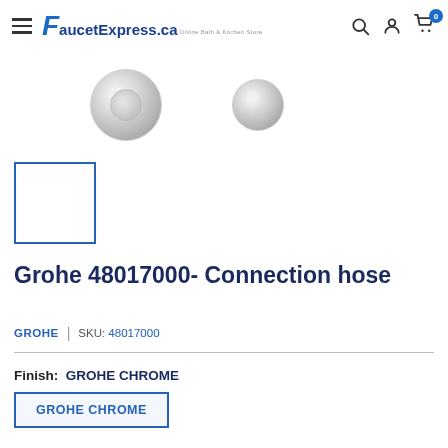FaucetExpress.ca — Online Bath & Kitchen Store
[Figure (photo): Product images of connection hose fittings shown as circular chrome pieces]
[Figure (photo): Selected thumbnail placeholder — blue-bordered white square]
Grohe 48017000- Connection hose
GROHE | SKU: 48017000
Finish: GROHE CHROME
GROHE CHROME